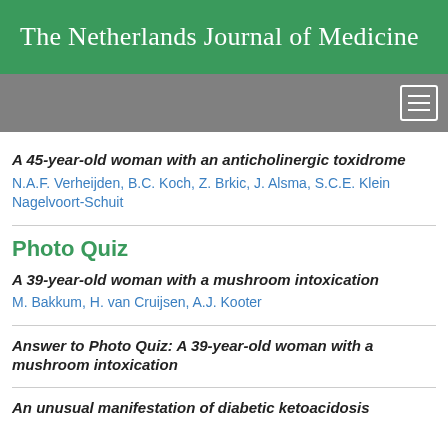The Netherlands Journal of Medicine
A 45-year-old woman with an anticholinergic toxidrome
N.A.F. Verheijden, B.C. Koch, Z. Brkic, J. Alsma, S.C.E. Klein Nagelvoort-Schuit
Photo Quiz
A 39-year-old woman with a mushroom intoxication
M. Bakkum, H. van Cruijsen, A.J. Kooter
Answer to Photo Quiz: A 39-year-old woman with a mushroom intoxication
An unusual manifestation of diabetic ketoacidosis